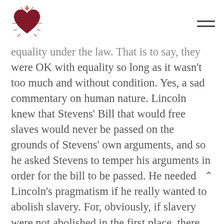[Logo icon] [Hamburger menu]
equality under the law. That is to say, they were OK with equality so long as it wasn't too much and without condition. Yes, a sad commentary on human nature. Lincoln knew that Stevens' Bill that would free slaves would never be passed on the grounds of Stevens' own arguments, and so he asked Stevens to temper his arguments in order for the bill to be passed. He needed Lincoln's pragmatism if he really wanted to abolish slavery. For, obviously, if slavery were not abolished in the first place, there would be no chan later for full equality under the law and beyond.